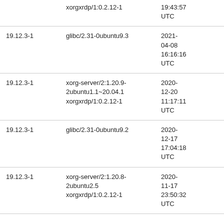|  | xorgxrdp/1:0.2.12-1 | 19:43:57 UTC |  |
| 19.12.3-1 | glibc/2.31-0ubuntu9.3 | 2021-04-08 16:16:16 UTC |  |
| 19.12.3-1 | xorg-server/2:1.20.9-2ubuntu1.1~20.04.1 xorgxrdp/1:0.2.12-1 | 2020-12-20 11:17:11 UTC |  |
| 19.12.3-1 | glibc/2.31-0ubuntu9.2 | 2020-12-17 17:04:18 UTC |  |
| 19.12.3-1 | xorg-server/2:1.20.8-2ubuntu2.5 xorgxrdp/1:0.2.12-1 | 2020-11-17 23:50:32 UTC |  |